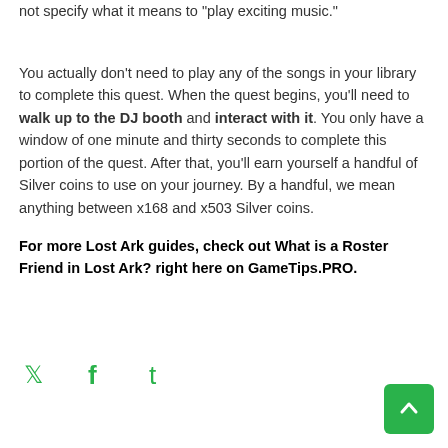not specify what it means to “play exciting music.”
You actually don’t need to play any of the songs in your library to complete this quest. When the quest begins, you’ll need to walk up to the DJ booth and interact with it. You only have a window of one minute and thirty seconds to complete this portion of the quest. After that, you’ll earn yourself a handful of Silver coins to use on your journey. By a handful, we mean anything between x168 and x503 Silver coins.
For more Lost Ark guides, check out What is a Roster Friend in Lost Ark? right here on GameTips.PRO.
[Figure (other): Social sharing icons: Twitter (bird), Facebook (f), Tumblr (t) in green color]
[Figure (other): Back to top button: green rounded rectangle with white upward chevron arrow]